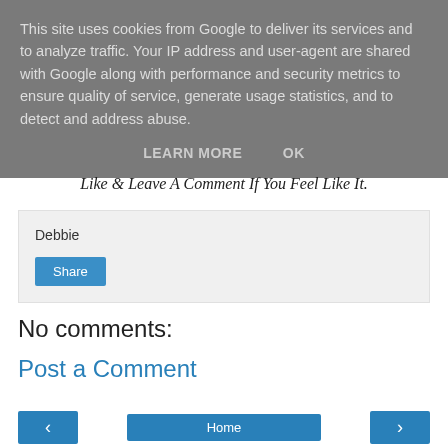This site uses cookies from Google to deliver its services and to analyze traffic. Your IP address and user-agent are shared with Google along with performance and security metrics to ensure quality of service, generate usage statistics, and to detect and address abuse.
LEARN MORE    OK
Like & Leave A Comment If You Feel Like It.
Debbie
Share
No comments:
Post a Comment
Home